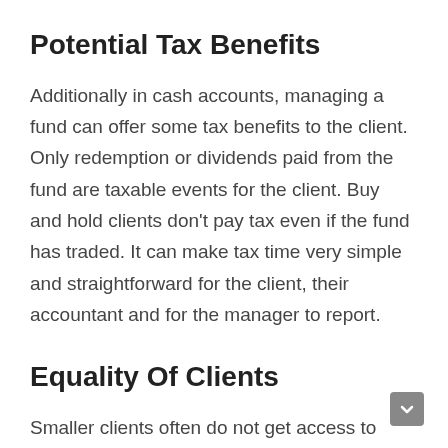Potential Tax Benefits
Additionally in cash accounts, managing a fund can offer some tax benefits to the client. Only redemption or dividends paid from the fund are taxable events for the client. Buy and hold clients don’t pay tax even if the fund has traded. It can make tax time very simple and straightforward for the client, their accountant and for the manager to report.
Equality Of Clients
Smaller clients often do not get access to cheaper